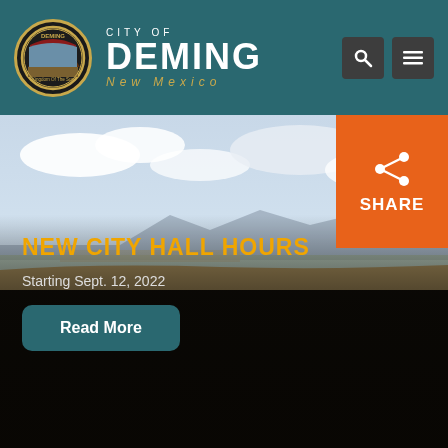[Figure (logo): City of Deming, New Mexico circular seal/logo with dark border and gold ring]
CITY OF DEMING New Mexico
[Figure (photo): Aerial/landscape photo of Deming, New Mexico showing flat desert terrain with mountains in background and cloudy sky, transitioning to dark overlay at bottom]
[Figure (other): Orange SHARE button with share icon in upper right of hero image]
NEW CITY HALL HOURS
Starting Sept. 12, 2022
Read More